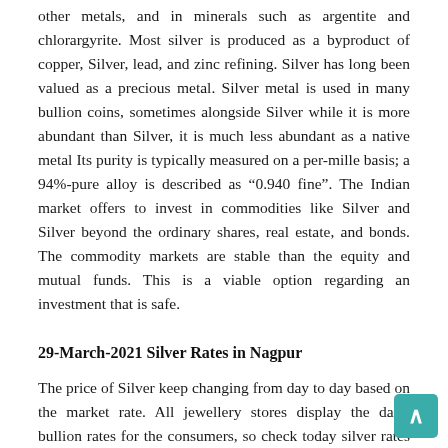other metals, and in minerals such as argentite and chlorargyrite. Most silver is produced as a byproduct of copper, Silver, lead, and zinc refining. Silver has long been valued as a precious metal. Silver metal is used in many bullion coins, sometimes alongside Silver while it is more abundant than Silver, it is much less abundant as a native metal Its purity is typically measured on a per-mille basis; a 94%-pure alloy is described as “0.940 fine”. The Indian market offers to invest in commodities like Silver and Silver beyond the ordinary shares, real estate, and bonds. The commodity markets are stable than the equity and mutual funds. This is a viable option regarding an investment that is safe.
29-March-2021 Silver Rates in Nagpur
The price of Silver keep changing from day to day based on the market rate. All jewellery stores display the daily bullion rates for the consumers, so check today silver rates in Nagpur